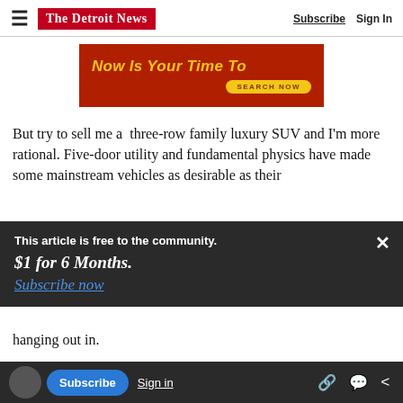The Detroit News | Subscribe | Sign In
[Figure (infographic): Red advertisement banner with yellow italic text 'Now Is Your Time To' and a yellow oval button reading 'SEARCH NOW']
But try to sell me a  three-row family luxury SUV and I'm more rational. Five-door utility and fundamental physics have made some mainstream vehicles as desirable as their
This article is free to the community.
$1 for 6 Months.
Subscribe now
hanging out in.
their (very actively) sports car and truck DNA into